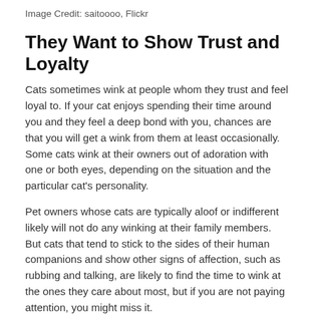Image Credit: saitoooo, Flickr
They Want to Show Trust and Loyalty
Cats sometimes wink at people whom they trust and feel loyal to. If your cat enjoys spending their time around you and they feel a deep bond with you, chances are that you will get a wink from them at least occasionally. Some cats wink at their owners out of adoration with one or both eyes, depending on the situation and the particular cat's personality.
Pet owners whose cats are typically aloof or indifferent likely will not do any winking at their family members. But cats that tend to stick to the sides of their human companions and show other signs of affection, such as rubbing and talking, are likely to find the time to wink at the ones they care about most, but if you are not paying attention, you might miss it.